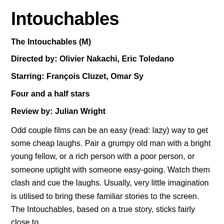Intouchables
The Intouchables (M)
Directed by: Olivier Nakachi, Eric Toledano
Starring: François Cluzet, Omar Sy
Four and a half stars
Review by: Julian Wright
Odd couple films can be an easy (read: lazy) way to get some cheap laughs. Pair a grumpy old man with a bright young fellow, or a rich person with a poor person, or someone uptight with someone easy-going. Watch them clash and cue the laughs. Usually, very little imagination is utilised to bring these familiar stories to the screen. The Intouchables, based on a true story, sticks fairly close to